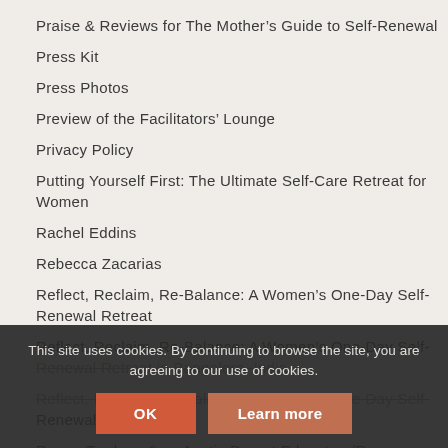Praise & Reviews for The Mother's Guide to Self-Renewal
Press Kit
Press Photos
Preview of the Facilitators' Lounge
Privacy Policy
Putting Yourself First: The Ultimate Self-Care Retreat for Women
Rachel Eddins
Rebecca Zacarias
Reflect, Reclaim, Re-Balance: A Women's One-Day Self-Renewal Retreat
Reflect, Reclaim, Re-Balance: A Women's One-Day Self-Renewal Retreat in Bangalore, India
Reflect, Reclaim, Re-Balance: A Women's One-Day Self-Renewal Retreat
Renee Trudeau … Austin Parent Educators/Resources
This site uses cookies. By continuing to browse the site, you are agreeing to our use of cookies.